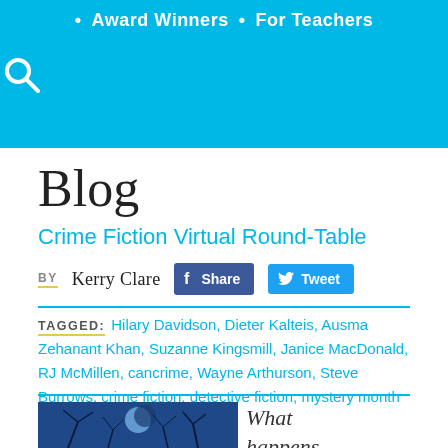• Award Winners • For Teachers
Blog
Crime Fiction Virtual Round-Table
BY Kerry Clare
TAGGED: Hilary Davidson, Dieter Kalteis, Ausma Zehanant Khan, Suzanne Kingsmill, Janice MacDonald, RJ McMillen, cancrime, Wayne Arthurson, Steve Burrows, crime fiction, detective fiction, mystery month
[Figure (photo): Dark blue moonlit sky with bare tree branches silhouetted]
What happens